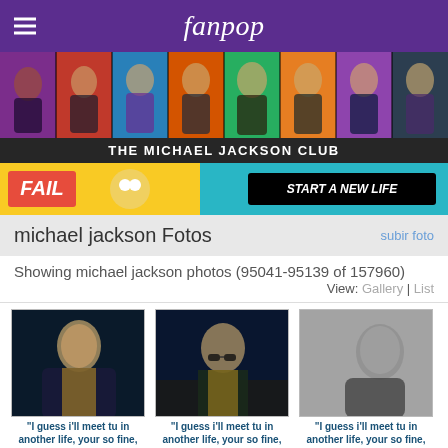fanpop
[Figure (photo): Banner strip with multiple photos of Michael Jackson at different ages and stages of his career]
THE MICHAEL JACKSON CLUB
[Figure (photo): Advertisement banner with FAIL text on left and START A NEW LIFE text on right]
michael jackson Fotos   subir foto
Showing michael jackson photos (95041-95139 of 157960)
View: Gallery | List
[Figure (photo): Photo of Michael Jackson on stage in dark outfit with gold accents, performing]
"I guess i'll meet tu in another life, your so fine, wish tu were mine"
♩ ♥
submitted by ilove_mj
[Figure (photo): Photo of Michael Jackson in dark jacket with gold accents and sunglasses]
"I guess i'll meet tu in another life, your so fine, wish tu were mine"
♩ ♥
submitted by ilove_mj
[Figure (photo): Black and white photo of Michael Jackson in profile view]
"I guess i'll meet tu in another life, your so fine, wish tu were mine"
♩ ♥
submitted by ilove_mj